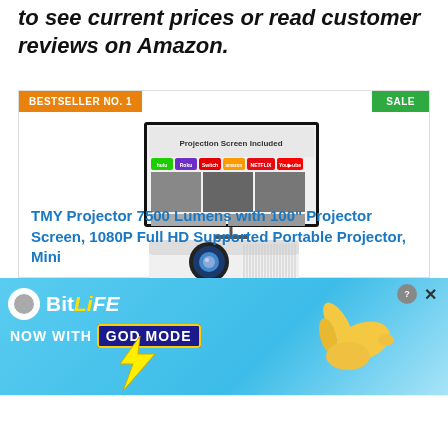to see current prices or read customer reviews on Amazon.
[Figure (photo): Product listing card showing a TMY projector with 100" projection screen. Orange 'BESTSELLER NO. 1' badge top-left, green 'SALE' badge top-right. Product image shows white mini projector with projection screen displaying streaming service logos (Hulu, Roku, Switch, Amazon, Netflix, YouTube). Below the image is the product title in blue: TMY Projector 7500 Lumens with 100" Projector Screen, 1080P Full HD Supported Portable Projector, Mini...]
[Figure (screenshot): BitLife mobile game advertisement banner with light blue gradient background. Shows BitLife logo with white circle icon, yellow 'LiFE' text. Text reads 'NOW WITH GOD MODE' with GOD MODE in dark blue box with yellow border. Yellow pointing hand graphic and lightning bolt. Close/X buttons in top right corner.]